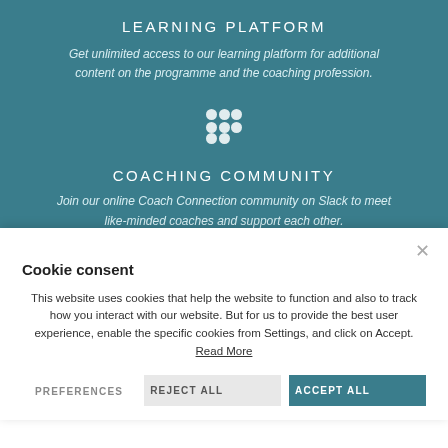LEARNING PLATFORM
Get unlimited access to our learning platform for additional content on the programme and the coaching profession.
[Figure (logo): Slack logo icon in white]
COACHING COMMUNITY
Join our online Coach Connection community on Slack to meet like-minded coaches and support each other.
Cookie consent
This website uses cookies that help the website to function and also to track how you interact with our website. But for us to provide the best user experience, enable the specific cookies from Settings, and click on Accept. Read More